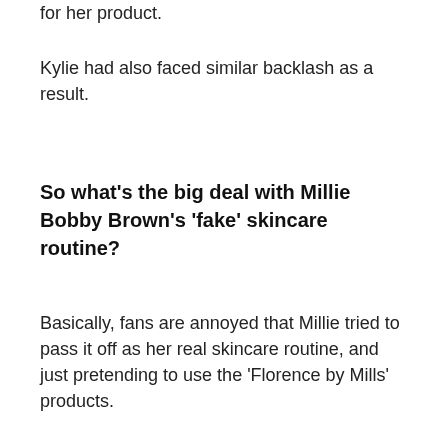for her product.
Kylie had also faced similar backlash as a result.
So what's the big deal with Millie Bobby Brown's 'fake' skincare routine?
Basically, fans are annoyed that Millie tried to pass it off as her real skincare routine, and just pretending to use the 'Florence by Mills' products.
For example, in the video, Millie used phrases such as: